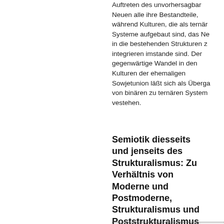Auftreten des unvorhersagbaren Neuen alle ihre Bestandteile, während Kulturen, die als ternäre Systeme aufgebaut sind, das Neue in die bestehenden Strukturen zu integrieren imstande sind. Der gegenwärtige Wandel in den Kulturen der ehemaligen Sowjetunion läßt sich als Übergang von binären zu ternären Systemen vestehen.
Semiotik diesseits und jenseits des Strukturalismus: Zu Verhältnis von Moderne und Postmoderne, Strukturalismus und Poststrukturalismus